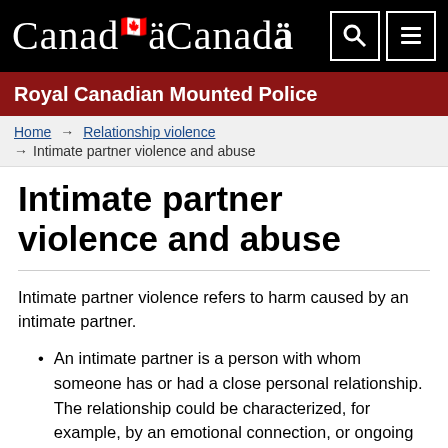Canada — Royal Canadian Mounted Police
Home → Relationship violence → Intimate partner violence and abuse
Intimate partner violence and abuse
Intimate partner violence refers to harm caused by an intimate partner.
An intimate partner is a person with whom someone has or had a close personal relationship. The relationship could be characterized, for example, by an emotional connection, or ongoing physical contact or sexual behaviour. Partners may identify as a